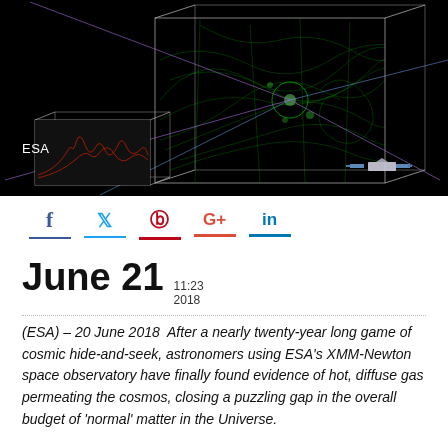[Figure (photo): Scientific visualization on black background showing 3D wire-frame cubes containing green filamentary cosmic web structure, with a smaller inset box showing red spectral data, and a spacecraft visible at bottom right. ESA watermark label in lower left.]
ESA
f  🐦  ⓟ  G+  in
June 21  11:23
2018
(ESA) – 20 June 2018  After a nearly twenty-year long game of cosmic hide-and-seek, astronomers using ESA's XMM-Newton space observatory have finally found evidence of hot, diffuse gas permeating the cosmos, closing a puzzling gap in the overall budget of 'normal' matter in the Universe.